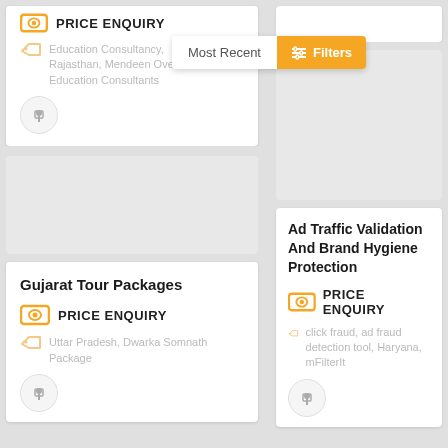PRICE ENQUIRY
Education Consultancy, Rajasthan, Mendeen Overseas Education Consultants
Most Recent
Filters
Gujarat Tour Packages
PRICE ENQUIRY
Uttar Pradesh, Dwarka Somnath Package
Ad Traffic Validation And Brand Hygiene Protection
PRICE ENQUIRY
click fraud, ad fraud detection tool, Haryana, mFilterIt